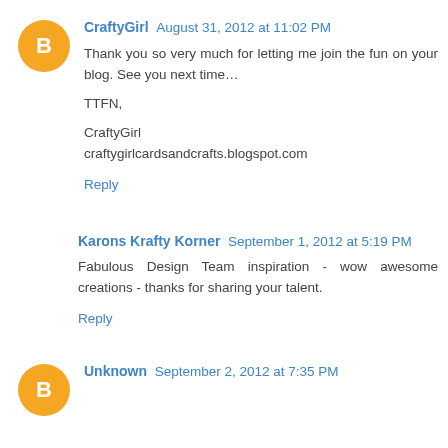CraftyGirl August 31, 2012 at 11:02 PM
Thank you so very much for letting me join the fun on your blog. See you next time…

TTFN,

CraftyGirl
craftygirlcardsandcrafts.blogspot.com
Reply
Karons Krafty Korner September 1, 2012 at 5:19 PM
Fabulous Design Team inspiration - wow awesome creations - thanks for sharing your talent.
Reply
Unknown September 2, 2012 at 7:35 PM